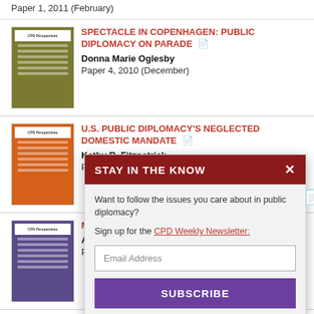Paper 1, 2011 (February)
SPECTACLE IN COPENHAGEN: PUBLIC DIPLOMACY ON PARADE
Donna Marie Oglesby
Paper 4, 2010 (December)
U.S. PUBLIC DIPLOMACY'S NEGLECTED DOMESTIC MANDATE
Kathy R. Fitzpatrick
Paper 3, 2010 (October)
MAPPING THE C... MEANINGFUL N...
Ali Fisher
Paper 2, 2010 (A...)
MOSCOW '59: T... REVISITED
Andrew Wulf
Paper 1, 2010 (J...)
STAY IN THE KNOW
Want to follow the issues you care about in public diplomacy?
Sign up for the CPD Weekly Newsletter:
Email Address
SUBSCRIBE